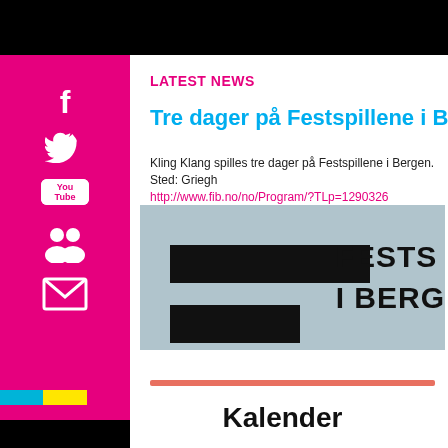LATEST NEWS
Tre dager på Festspillene i Bergen
Kling Klang spilles tre dager på Festspillene i Bergen. Sted: Griegh…
http://www.fib.no/no/Program/?TLp=1290326
[Figure (screenshot): Festspillene i Bergen logo/banner area with light blue background, black text bars and text reading FESTS... I BERG...]
[Figure (infographic): Kalender section with salmon/red horizontal line and bold text Kalender on white background]